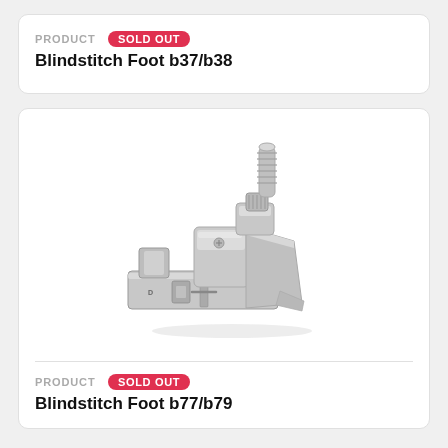PRODUCT   SOLD OUT
Blindstitch Foot b37/b38
[Figure (photo): Photo of a silver metal Blindstitch Foot sewing machine presser foot attachment (b77/b79), showing a flat wide base with guide slot, adjustable screw mechanism, and threaded shank on top.]
PRODUCT   SOLD OUT
Blindstitch Foot b77/b79